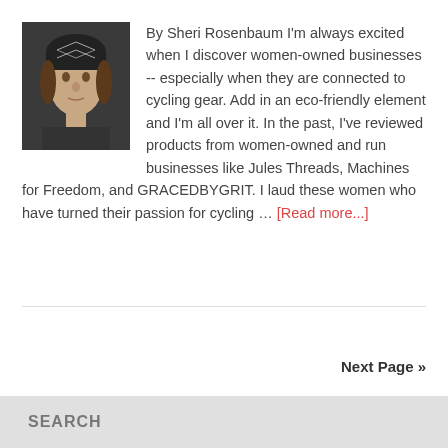[Figure (photo): Person wearing a dark cycling headband/head warmer, facing slightly to the side]
By Sheri Rosenbaum I'm always excited when I discover women-owned businesses -- especially when they are connected to cycling gear. Add in an eco-friendly element and I'm all over it. In the past, I've reviewed products from women-owned and run businesses like Jules Threads, Machines for Freedom, and GRACEDBYGRIT. I laud these women who have turned their passion for cycling … [Read more...]
Next Page »
SEARCH